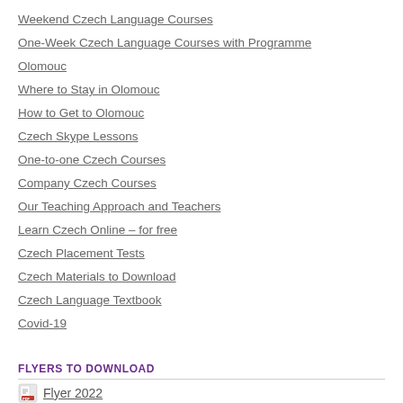Weekend Czech Language Courses
One-Week Czech Language Courses with Programme
Olomouc
Where to Stay in Olomouc
How to Get to Olomouc
Czech Skype Lessons
One-to-one Czech Courses
Company Czech Courses
Our Teaching Approach and Teachers
Learn Czech Online – for free
Czech Placement Tests
Czech Materials to Download
Czech Language Textbook
Covid-19
FLYERS TO DOWNLOAD
Flyer 2022